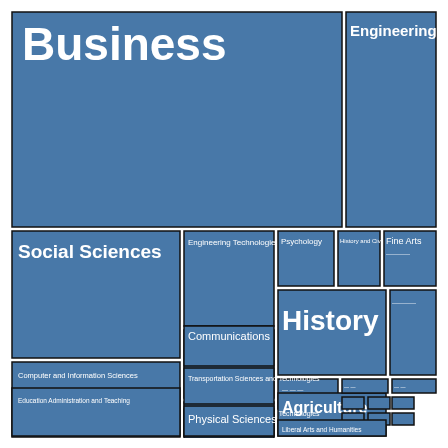[Figure (other): Treemap chart showing academic disciplines by size. Categories include Business (largest, top-left), Engineering (top-right), Social Sciences, Engineering Technologies, Psychology, History, Fine Arts, Communications, Computer and Information Sciences, Agriculture, Physical Sciences, Liberal Arts and Humanities, Transportation Sciences and Technologies, Education Administration and Teaching, and several smaller unlabeled categories.]